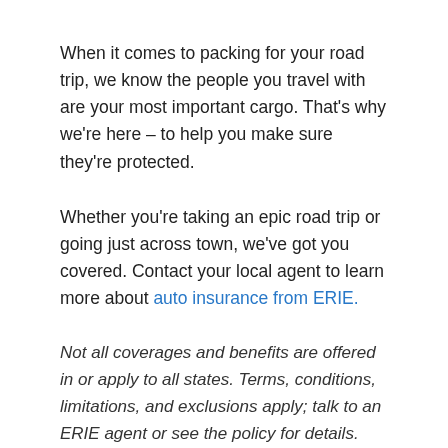When it comes to packing for your road trip, we know the people you travel with are your most important cargo. That's why we're here – to help you make sure they're protected.
Whether you're taking an epic road trip or going just across town, we've got you covered. Contact your local agent to learn more about auto insurance from ERIE.
Not all coverages and benefits are offered in or apply to all states. Terms, conditions, limitations, and exclusions apply; talk to an ERIE agent or see the policy for details.